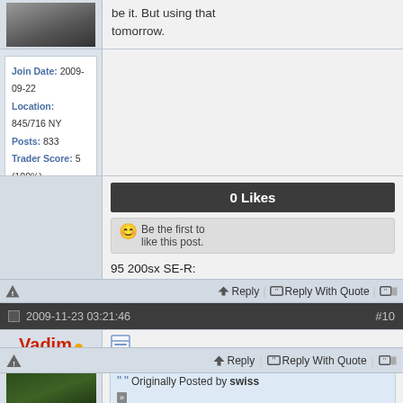be it. But using that tomorrow.
Join Date: 2009-09-22
Location: 845/716 NY
Posts: 833
Trader Score: 5 (100%)
0 Likes
Be the first to like this post.
95 200sx SE-R: 12.6@106 mods: t25@9psi and a whole lotta traction
98 Altima: daily
Reply | Reply With Quote
2009-11-23 03:21:46   #10
Vadim
Administrator
Originally Posted by swiss
And you need to